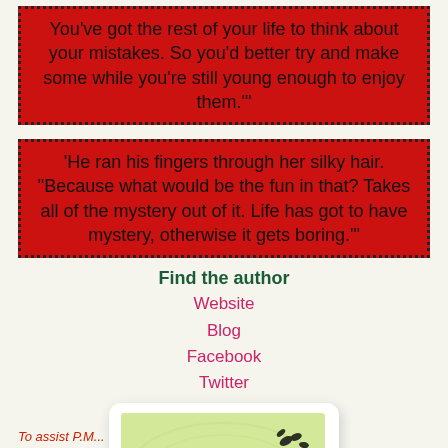You've got the rest of your life to think about your mistakes. So you'd better try and make some while you're still young enough to enjoy them.'"
'He ran his fingers through her silky hair. "Because what would be the fun in that? Takes all of the mystery out of it. Life has got to have mystery, otherwise it gets boring.'"
Find the author
Website
Blog
Facebook
Twitter
[Figure (logo): Misti logo - green cursive text 'Misti' with butterflies on a light green decorative background]
To assist P.M...